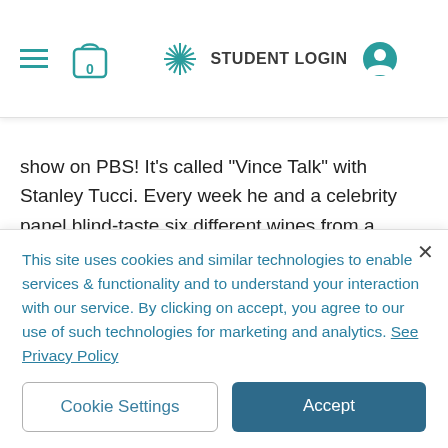Navigation bar with hamburger menu, cart (0), STUDENT LOGIN, and user icon
sn't fix it.
w show on PBS! It's called “Vince Talk” with Stanley Tucci. Every week he and a celebrity panel blind-taste six different wines from a particular grape/region. Then they vote on which one they like best and compare it with the studio audience’s pick. Stanley is brilliant and funny always and it’s a lot of fun! Go to www.vinetalk.com to check it out.
From Tom Dheere’s apartment, this is Tom Dheere. GKN News.
This site uses cookies and similar technologies to enable services & functionality and to understand your interaction with our service. By clicking on accept, you agree to our use of such technologies for marketing and analytics. See Privacy Policy